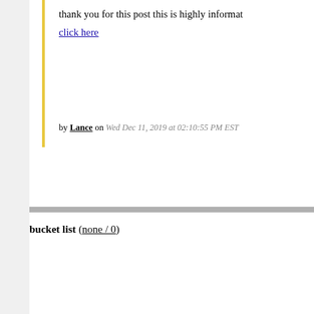thank you for this post this is highly informat click here
by Lance on Wed Dec 11, 2019 at 02:10:55 PM EST
bucket list (none / 0)
GREAT SITE
www.spokanejunkremoval.org
by Lance on Sun Dec 15, 2019 at 09:12:23 AM EST
Professional Homes Roofers (none / 0)
If you are browsing this message currently, y or not or now not or not or now not you want up you these days, having a web net internet